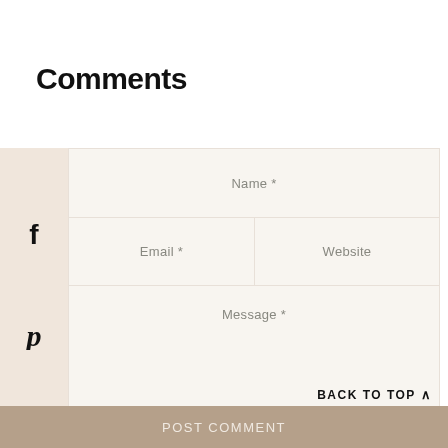Comments
[Figure (other): Social media sidebar with Facebook, Pinterest, and Twitter icons on a beige/tan background panel]
Name *
Email *
Website
Message *
Post Comment
BACK TO TOP ∧